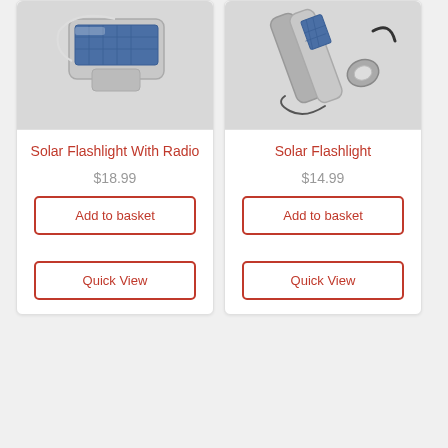[Figure (photo): Solar flashlight with radio device, silver/white, with solar panel visible and lanyard]
Solar Flashlight With Radio
$18.99
Add to basket
Quick View
[Figure (photo): Solar flashlight, silver metal cylinder with solar panel and USB cable, with lanyard]
Solar Flashlight
$14.99
Add to basket
Quick View